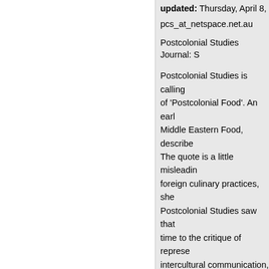updated: Thursday, April 8,
pcs_at_netspace.net.au
Postcolonial Studies Journal: S
Postcolonial Studies is calling of 'Postcolonial Food'. An earl Middle Eastern Food, describe The quote is a little misleadin foreign culinary practices, she Postcolonial Studies saw that time to the critique of represe intercultural communication,
CFP: Postcolonial Foo
updated: Thursday, April 8,
pcs_at_netspace.net.au